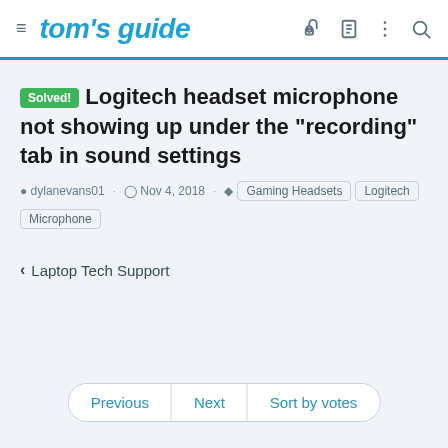tom's guide
Solved! Logitech headset microphone not showing up under the "recording" tab in sound settings
dylanevans01 · Nov 4, 2018 · Gaming Headsets  Logitech  Microphone
< Laptop Tech Support
Previous  Next  Sort by votes